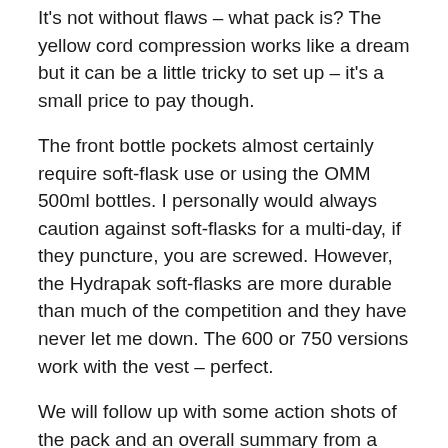Lab Peak 20 has now become my new favourite.
It's not without flaws – what pack is? The yellow cord compression works like a dream but it can be a little tricky to set up – it's a small price to pay though.
The front bottle pockets almost certainly require soft-flask use or using the OMM 500ml bottles. I personally would always caution against soft-flasks for a multi-day, if they puncture, you are screwed. However, the Hydrapak soft-flasks are more durable than much of the competition and they have never let me down. The 600 or 750 versions work with the vest – perfect.
We will follow up with some action shots of the pack and an overall summary from a male and female perspective in the coming weeks, for now, this pack gets an 'A' for awesome.